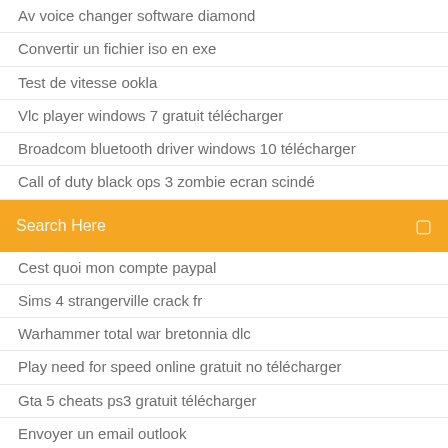Av voice changer software diamond
Convertir un fichier iso en exe
Test de vitesse ookla
Vlc player windows 7 gratuit télécharger
Broadcom bluetooth driver windows 10 télécharger
Call of duty black ops 3 zombie ecran scindé
[Figure (screenshot): Orange search bar with 'Search Here' placeholder text and a search icon on the right]
Cest quoi mon compte paypal
Sims 4 strangerville crack fr
Warhammer total war bretonnia dlc
Play need for speed online gratuit no télécharger
Gta 5 cheats ps3 gratuit télécharger
Envoyer un email outlook
Battlefield 2 patch 1.5 gratuit télécharger
Jeux dechec gratuit telecharger francais
Sony vegas pro 12.0
Comment ecrire un fichier pdf
Logiciel gratuit pour réparer disque dur externe